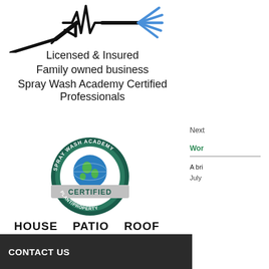[Figure (illustration): Pressure washer gun on the left and water spray nozzle on the right with a heartbeat/EKG line in the center, forming a logo for The Wash Doctors LLC]
Licensed & Insured
Family owned business
Spray Wash Academy Certified Professionals
[Figure (logo): Spray Wash Academy Certified Plant/Property circular badge with globe image and banner]
HOUSE   PATIO   ROOF   DECK
Call us for a quote!
www.thewashdoctorsllc.com
Next
Wor
A bri
July
CONTACT US